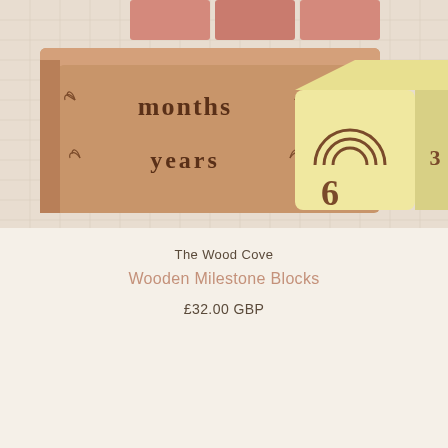[Figure (photo): Wooden milestone baby blocks on a white textured cloth. A large rectangular wooden block engraved with 'months' and 'years' with leaf motifs. A small yellow cube with a rainbow engraving and the number 6 visible. Pink/salmon colored blocks partially visible at the top.]
The Wood Cove
Wooden Milestone Blocks
£32.00 GBP